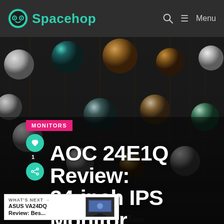Spacehop — Menu
[Figure (photo): Hero background photo showing colorful glass marbles viewed from above on a dark wooden surface, with a monitor screen in the lower portion]
AOC 24E1Q Review: 24-inch IPS Monitor for Regular Use
MONITORS
WHAT'S NEXT → ASUS VA24DQ Review: Bes...